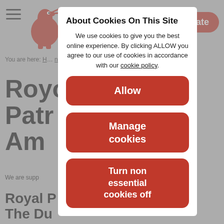[Figure (screenshot): Background website with navigation, red dinosaur charity logo, Donate button, breadcrumb navigation, and large bold page title text 'Royal Patrons & Ambassadors' partially visible, dimmed behind cookie consent modal]
About Cookies On This Site
We use cookies to give you the best online experience. By clicking ALLOW you agree to our use of cookies in accordance with our cookie policy.
Allow
Manage cookies
Turn non essential cookies off